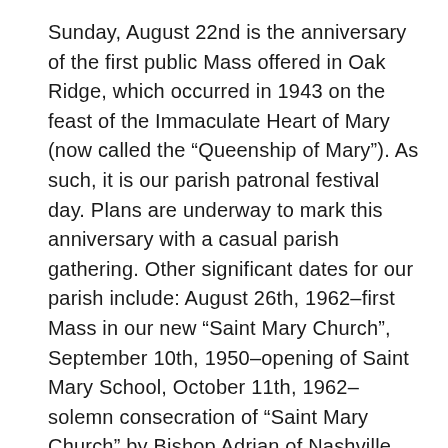Sunday, August 22nd is the anniversary of the first public Mass offered in Oak Ridge, which occurred in 1943 on the feast of the Immaculate Heart of Mary (now called the “Queenship of Mary”). As such, it is our parish patronal festival day. Plans are underway to mark this anniversary with a casual parish gathering. Other significant dates for our parish include: August 26th, 1962–first Mass in our new “Saint Mary Church”, September 10th, 1950–opening of Saint Mary School, October 11th, 1962–solemn consecration of “Saint Mary Church” by Bishop Adrian of Nashville, October 12th, 1958–dedication of “Our Lady of Oak Ridge” statue (by the turnpike), October 17th, 1946–formation of the Catholic Women Club (now called “Council of Catholic Women”; 70th anniversary!), and November 10th through December 8th, 1968–the public forums on race relations entitled “An Experiment in Social Concern”, sponsored by Saint